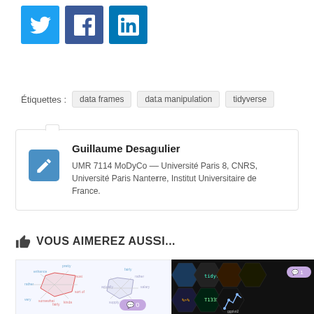[Figure (other): Social sharing icons: Twitter (blue bird), Facebook (blue f), LinkedIn (blue in)]
Étiquettes : data frames  data manipulation  tidyverse
Guillaume Desagulier
UMR 7114 MoDyCo — Université Paris 8, CNRS, Université Paris Nanterre, Institut Universitaire de France.
VOUS AIMEREZ AUSSI...
[Figure (other): Two thumbnail preview images of related articles, one showing a radar/polygon chart, the other showing a tidyverse hexagonal logo collage]